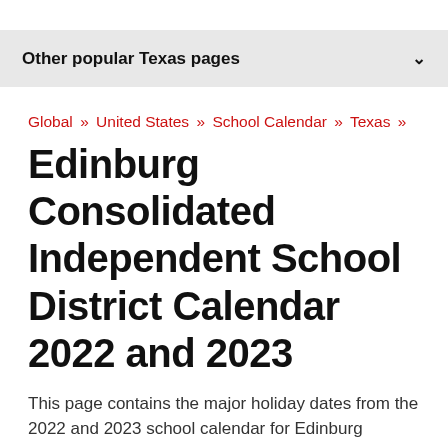Other popular Texas pages
Global » United States » School Calendar » Texas »
Edinburg Consolidated Independent School District Calendar 2022 and 2023
This page contains the major holiday dates from the 2022 and 2023 school calendar for Edinburg Consolidated Independent School District in Texas.